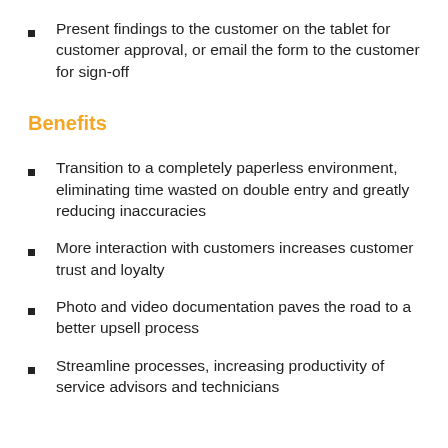Present findings to the customer on the tablet for customer approval, or email the form to the customer for sign-off
Benefits
Transition to a completely paperless environment, eliminating time wasted on double entry and greatly reducing inaccuracies
More interaction with customers increases customer trust and loyalty
Photo and video documentation paves the road to a better upsell process
Streamline processes, increasing productivity of service advisors and technicians